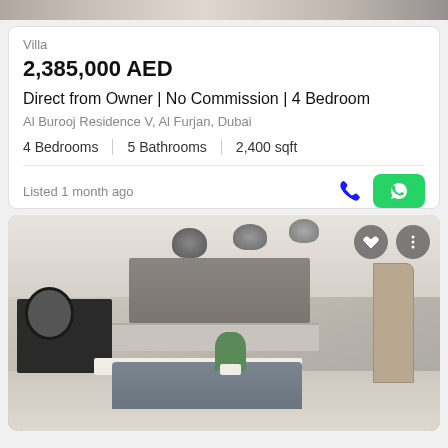[Figure (photo): Top portion of a property listing photo (partial/cropped at top of page)]
Villa
2,385,000 AED
Direct from Owner | No Commission | 4 Bedroom
Al Burooj Residence V, Al Furjan, Dubai
4 Bedrooms  |  5 Bathrooms  |  2,400 sqft
Listed 1 month ago
[Figure (photo): Interior photo of a modern apartment showing a dining area with grey chairs around a white table, open kitchen with grey upper cabinets, pendant lights, oval mirror, dark sideboard, and a decorative plant. Two circular buttons (heart/favorite and more options) are visible in the top right of the image.]